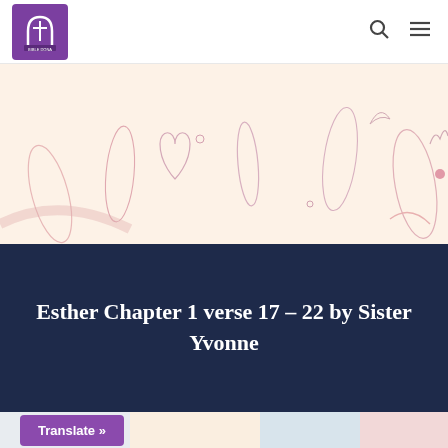[Figure (logo): Bible Dona church logo: purple square with white arch/cross icon and text below]
[Figure (illustration): Decorative banner with light peach/cream background featuring faint leaf, plant, and botanical outline illustrations in light pink/rose tones]
Esther Chapter 1 verse 17 – 22 by Sister Yvonne
[Figure (other): Bottom color strip with four segments: light blue-grey, light peach, light blue, light pink]
Translate »